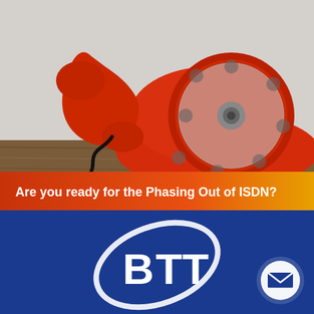[Figure (photo): Red vintage rotary telephone on a wooden surface with a dark cord, with an orange-red gradient banner overlay at the bottom reading 'Are you ready for the Phasing Out of ISDN?' in white bold text]
BT ISDN Switch Off
[Figure (logo): BTT logo (white stylized letters B T T with an orbital ellipse) on a dark blue background, with a white envelope icon in a circle on the right]